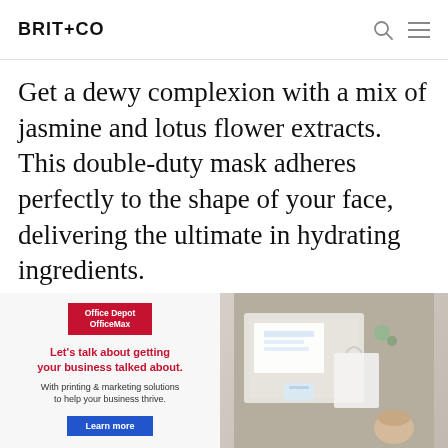BRIT+CO
Get a dewy complexion with a mix of jasmine and lotus flower extracts. This double-duty mask adheres perfectly to the shape of your face, delivering the ultimate in hydrating ingredients.
[Figure (photo): Office Depot OfficeMax advertisement banner: left side has red Office Depot OfficeMax logo, red headline 'Let's talk about getting your business talked about.', subtext 'With printing & marketing solutions to help your business thrive.', blue 'Learn more' button. Right side shows an overhead photo of business/marketing materials on a wooden desk surface.]